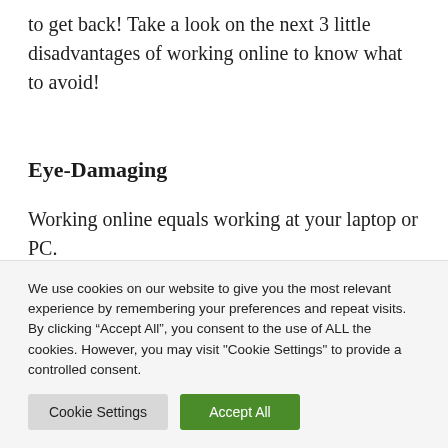to get back! Take a look on the next 3 little disadvantages of working online to know what to avoid!
Eye-Damaging
Working online equals working at your laptop or PC.
We use cookies on our website to give you the most relevant experience by remembering your preferences and repeat visits. By clicking “Accept All”, you consent to the use of ALL the cookies. However, you may visit "Cookie Settings" to provide a controlled consent.